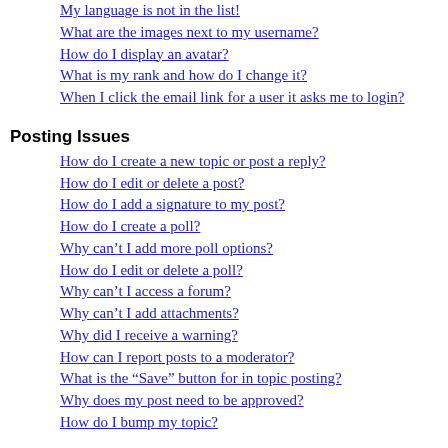My language is not in the list!
What are the images next to my username?
How do I display an avatar?
What is my rank and how do I change it?
When I click the email link for a user it asks me to login?
Posting Issues
How do I create a new topic or post a reply?
How do I edit or delete a post?
How do I add a signature to my post?
How do I create a poll?
Why can’t I add more poll options?
How do I edit or delete a poll?
Why can’t I access a forum?
Why can’t I add attachments?
Why did I receive a warning?
How can I report posts to a moderator?
What is the “Save” button for in topic posting?
Why does my post need to be approved?
How do I bump my topic?
Formatting and Topic Types
What is BBCode?
Can I use HTML?
What are Smilies?